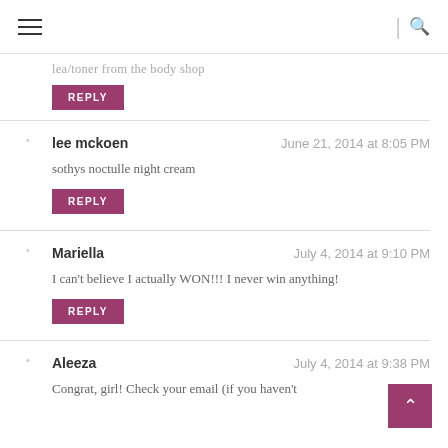navigation header with hamburger menu and search icon
lea/toner from the body shop
REPLY
lee mckoen — June 21, 2014 at 8:05 PM
sothys noctulle night cream
REPLY
Mariella — July 4, 2014 at 9:10 PM
I can't believe I actually WON!!! I never win anything!
REPLY
Aleeza — July 4, 2014 at 9:38 PM
Congrat, girl! Check your email (if you haven't